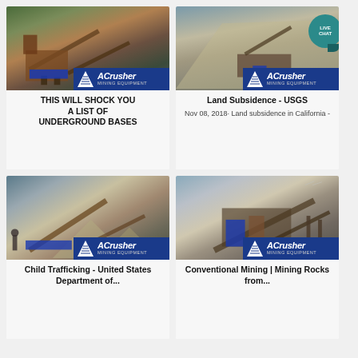[Figure (photo): Mining/crushing equipment with conveyor belts in a mountainous area, ACrusher Mining Equipment logo overlay]
THIS WILL SHOCK YOU A LIST OF UNDERGROUND BASES
[Figure (photo): Open pit mine with large earthen slope and crushing equipment, ACrusher Mining Equipment logo overlay, LIVE CHAT badge]
Land Subsidence - USGS Nov 08, 2018· Land subsidence in California -
[Figure (photo): Conveyor belt system with gravel mounds and workers, ACrusher Mining Equipment logo overlay]
Child Trafficking - United States Department of...
[Figure (photo): Large mining/crushing machinery with conveyor systems, ACrusher Mining Equipment logo overlay]
Conventional Mining | Mining Rocks from...